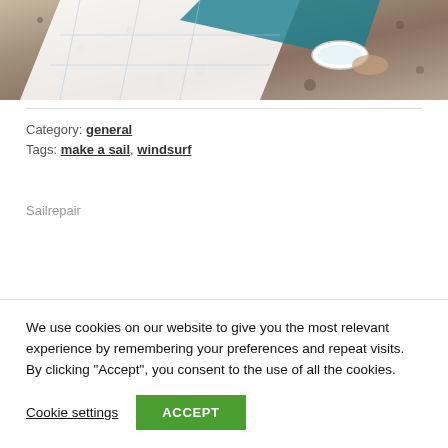[Figure (photo): A hand rolling up or unrolling a blue and white sail or sheet of material on a granite-like stone surface outdoors.]
Category: general
Tags: make a sail, windsurf
Sailrepair
We use cookies on our website to give you the most relevant experience by remembering your preferences and repeat visits. By clicking “Accept”, you consent to the use of all the cookies.
Cookie settings
ACCEPT